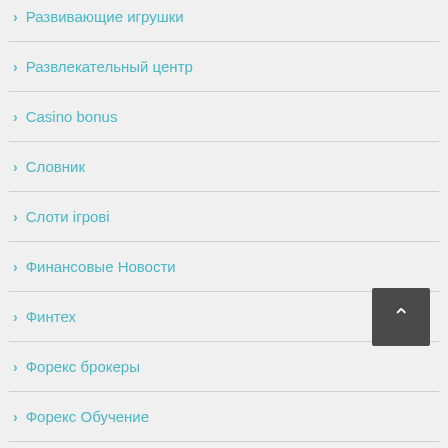Развивающие игрушки
Развлекательный центр
Casino bonus
Словник
Слоти ігрові
Финансовые Новости
Финтех
Форекс брокеры
Форекс Обучение